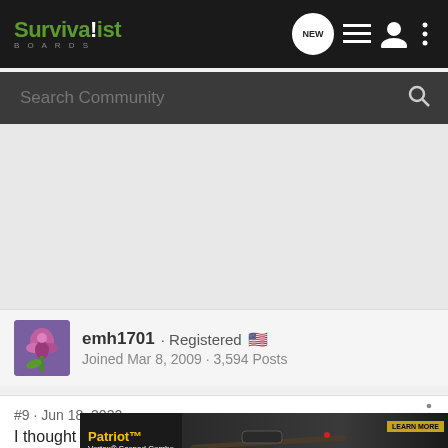Survivalist BOARDS
Search Community
[Figure (other): Gray advertisement placeholder area]
emh1701 · Registered 🇺🇸
Joined Mar 8, 2009 · 3,594 Posts
#9 · Jun 18, 2022
I thought Putin already lit the fuse, but I could be wrong about that.
[Figure (photo): Patriot Vortex Scoped Combo - MOSSBERG advertisement with rifle image]